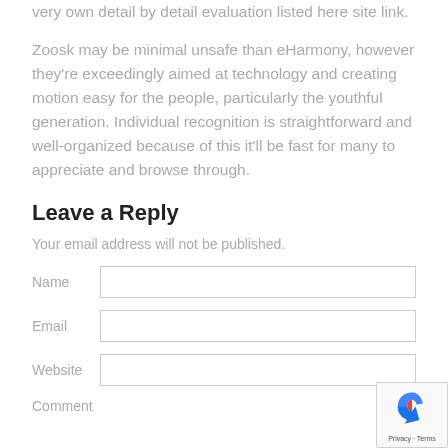…possible mastering more information on eHarmony on our very own detail by detail evaluation listed here site link.
Zoosk may be minimal unsafe than eHarmony, however they're exceedingly aimed at technology and creating motion easy for the people, particularly the youthful generation. Individual recognition is straightforward and well-organized because of this it'll be fast for many to appreciate and browse through.
Leave a Reply
Your email address will not be published.
Name [input field]
Email [input field]
Website [input field]
Comment